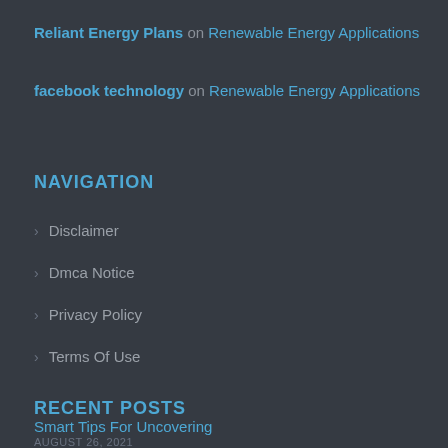Reliant Energy Plans on Renewable Energy Applications
facebook technology on Renewable Energy Applications
NAVIGATION
Disclaimer
Dmca Notice
Privacy Policy
Terms Of Use
RECENT POSTS
Smart Tips For Uncovering
AUGUST 26, 2021